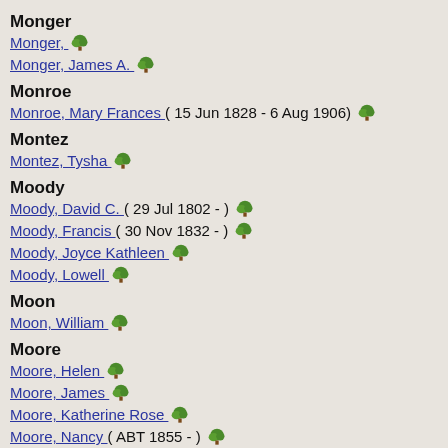Monger
Monger,
Monger, James A.
Monroe
Monroe, Mary Frances  ( 15 Jun 1828 - 6 Aug 1906)
Montez
Montez, Tysha
Moody
Moody, David C.  ( 29 Jul 1802 - )
Moody, Francis  ( 30 Nov 1832 - )
Moody, Joyce Kathleen
Moody, Lowell
Moon
Moon, William
Moore
Moore, Helen
Moore, James
Moore, Katherine Rose
Moore, Nancy  ( ABT 1855 - )
Moore, Terry
Moran